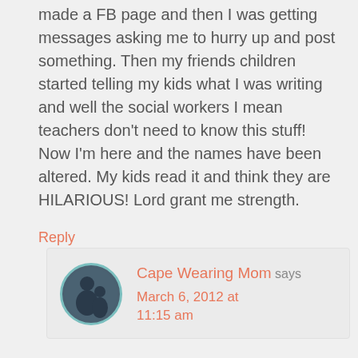made a FB page and then I was getting messages asking me to hurry up and post something. Then my friends children started telling my kids what I was writing and well the social workers I mean teachers don't need to know this stuff! Now I'm here and the names have been altered. My kids read it and think they are HILARIOUS! Lord grant me strength.
Reply
Cape Wearing Mom says March 6, 2012 at 11:15 am